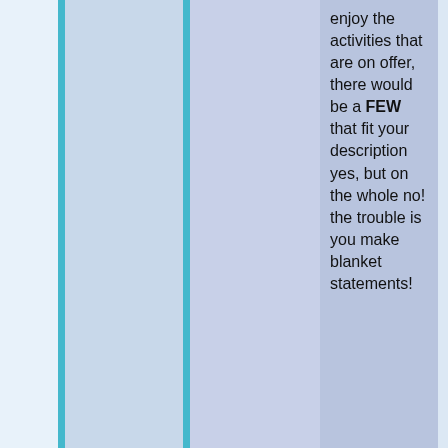enjoy the activities that are on offer, there would be a FEW that fit your description yes, but on the whole no! the trouble is you make blanket statements!
Again, when you're at the end of your life and in chronic pain and in high needs care I will remember this.